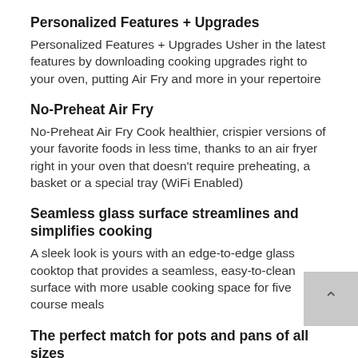Personalized Features + Upgrades
Personalized Features + Upgrades Usher in the latest features by downloading cooking upgrades right to your oven, putting Air Fry and more in your repertoire
No-Preheat Air Fry
No-Preheat Air Fry Cook healthier, crispier versions of your favorite foods in less time, thanks to an air fryer right in your oven that doesn't require preheating, a basket or a special tray (WiFi Enabled)
Seamless glass surface streamlines and simplifies cooking
A sleek look is yours with an edge-to-edge glass cooktop that provides a seamless, easy-to-clean surface with more usable cooking space for five course meals
The perfect match for pots and pans of all sizes
Tailor your burner size to your cookware with a 12"/9"/6" element with Power Boil
Create dinners and desserts at the exact same